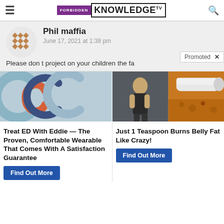FORBIDDEN KNOWLEDGE TV
Phil maffia
June 17, 2021 at 1:38 pm
Please don t project on your children the fa
[Figure (photo): Ad image showing resistance bands / ED device in light blue]
Treat ED With Eddie — The Proven, Comfortable Wearable That Comes With A Satisfaction Guarantee
Find Out More
[Figure (photo): Ad image collage showing fit woman and spice/supplement in spoon]
Just 1 Teaspoon Burns Belly Fat Like Crazy!
Find Out More